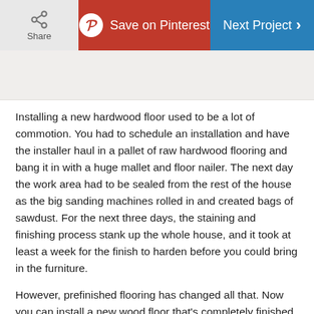Share | Save on Pinterest | Next Project
[Figure (photo): Partial image area placeholder at top of article]
Installing a new hardwood floor used to be a lot of commotion. You had to schedule an installation and have the installer haul in a pallet of raw hardwood flooring and bang it in with a huge mallet and floor nailer. The next day the work area had to be sealed from the rest of the house as the big sanding machines rolled in and created bags of sawdust. For the next three days, the staining and finishing process stank up the whole house, and it took at least a week for the finish to harden before you could bring in the furniture.
However, prefinished flooring has changed all that. Now you can install a new wood floor that's completely finished from A to Z in a single weekend. You'll be amazed at the beauty, practicality and speed of installation of a staple-down prefinished wood floor. You can literally start